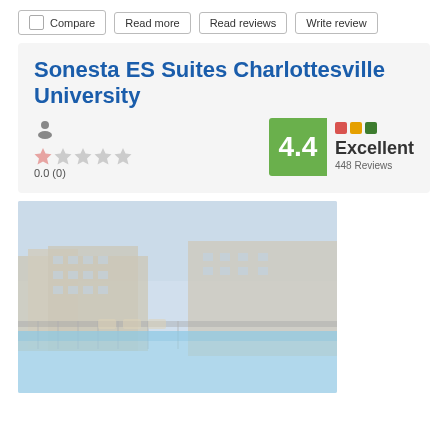Compare
Read more
Read reviews
Write review
Sonesta ES Suites Charlottesville University
0.0 (0)
4.4 Excellent 448 Reviews
[Figure (photo): Exterior photo of Sonesta ES Suites Charlottesville University showing apartment-style buildings and an outdoor pool area]